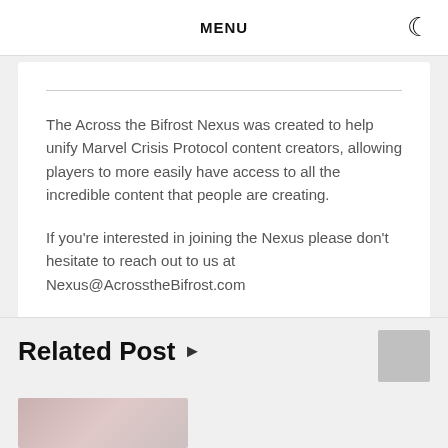MENU
The Across the Bifrost Nexus was created to help unify Marvel Crisis Protocol content creators, allowing players to more easily have access to all the incredible content that people are creating.
If you're interested in joining the Nexus please don't hesitate to reach out to us at Nexus@AcrosstheBifrost.com
Related Post ▸